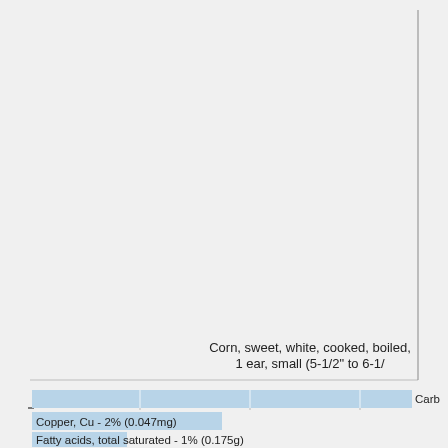[Figure (bar-chart): Corn, sweet, white, cooked, boiled, drained, without salt - 1 ear, small (5-1/2" to 6-1/2")]